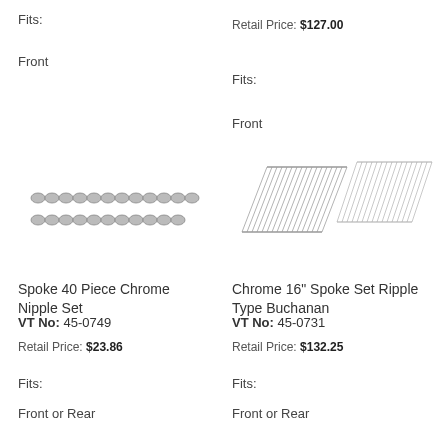Fits:
Retail Price: $127.00
Front
Fits:
Front
[Figure (photo): Spoke 40 piece chrome nipple set - two rows of chrome nipples]
[Figure (photo): Chrome 16 inch spoke set ripple type Buchanan - two sets of spokes shown]
Spoke 40 Piece Chrome Nipple Set
VT No:  45-0749
Retail Price: $23.86
Fits:
Front or Rear
Chrome 16" Spoke Set Ripple Type Buchanan
VT No:  45-0731
Retail Price: $132.25
Fits:
Front or Rear